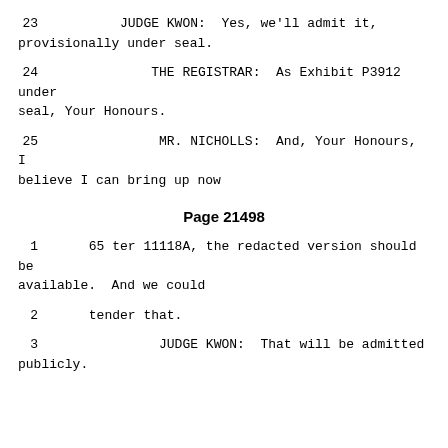23          JUDGE KWON:  Yes, we'll admit it, provisionally under seal.
24               THE REGISTRAR:  As Exhibit P3912 under seal, Your Honours.
25               MR. NICHOLLS:  And, Your Honours, I believe I can bring up now
Page 21498
1      65 ter 11118A, the redacted version should be available.  And we could
2      tender that.
3               JUDGE KWON:  That will be admitted publicly.